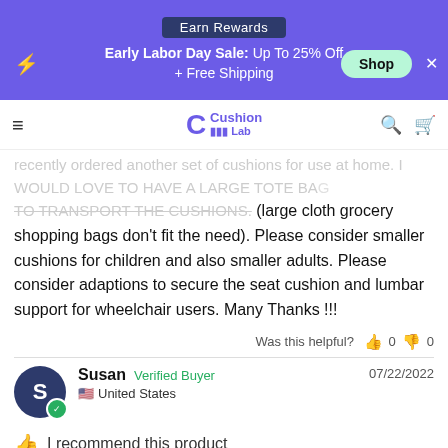Earn Rewards | Early Labor Day Sale: Up To 25% Off + Free Shipping | Shop
Cushion Lab
recently ordered another set of cushions for use at home. I WOULD LOVE TO HAVE A LARGE TOTE BAG TO TRANSPORT THE CUSHIONS. (large cloth grocery shopping bags don't fit the need). Please consider smaller cushions for children and also smaller adults. Please consider adaptions to secure the seat cushion and lumbar support for wheelchair users. Many Thanks !!!
Was this helpful? 👍 0 👎 0
Susan  Verified Buyer  07/22/2022  United States
I recommend this product
★★★★★ Changed My Life
The standard life-enhancing wellness product, life at b...